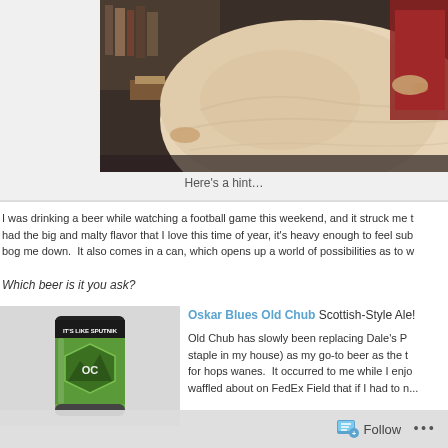[Figure (photo): Close-up photo of a very large, pale, obese belly/torso with a red bag visible in the background, shot in a room with bookshelves]
Here's a hint…
I was drinking a beer while watching a football game this weekend, and it struck me that it had the big and malty flavor that I love this time of year, it's heavy enough to feel sub- bog me down.  It also comes in a can, which opens up a world of possibilities as to w
Which beer is it you ask?
[Figure (photo): A green can of Oskar Blues Old Chub Scottish-Style Ale with black label reading 'IT'S LIKE SPUTNIK']
Oskar Blues Old Chub Scottish-Style Ale!
Old Chub has slowly been replacing Dale's P... staple in my house) as my go-to beer as the t... for hops wanes.  It occurred to me while I enjo... waffled about on FedEx Field that if I had to n...